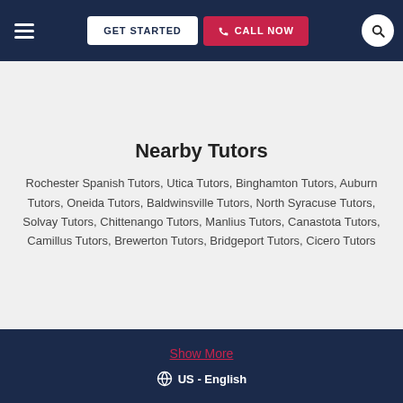GET STARTED | CALL NOW
Nearby Tutors
Rochester Spanish Tutors, Utica Tutors, Binghamton Tutors, Auburn Tutors, Oneida Tutors, Baldwinsville Tutors, North Syracuse Tutors, Solvay Tutors, Chittenango Tutors, Manlius Tutors, Canastota Tutors, Camillus Tutors, Brewerton Tutors, Bridgeport Tutors, Cicero Tutors
Show More | US - English